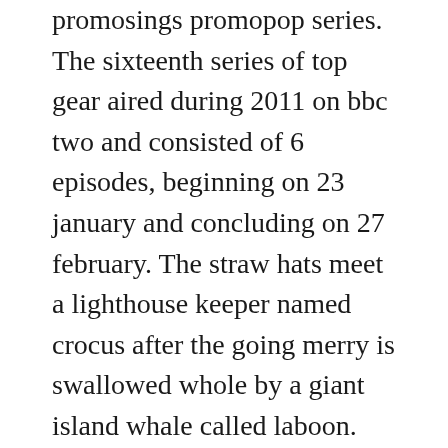promosings promopop series. The sixteenth series of top gear aired during 2011 on bbc two and consisted of 6 episodes, beginning on 23 january and concluding on 27 february. The straw hats meet a lighthouse keeper named crocus after the going merry is swallowed whole by a giant island whale called laboon. Top 10 craziest things celebs did for attention video. Mar 16, 2019 top 10 reasons meghan markle is a badass. We also get to see,only in a single picture mind you,another car inspired to be a tribute to the etype,which,while it is a thing of beauty,is.